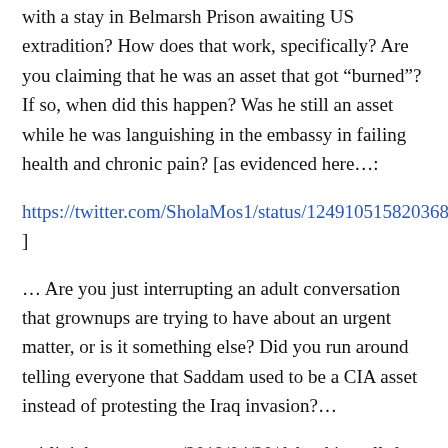with a stay in Belmarsh Prison awaiting US extradition? How does that work, specifically? Are you claiming that he was an asset that got “burned”? If so, when did this happen? Was he still an asset while he was languishing in the embassy in failing health and chronic pain? [as evidenced here…:
https://twitter.com/SholaMos1/status/1249105158203682823 ]
… Are you just interrupting an adult conversation that grownups are trying to have about an urgent matter, or is it something else? Did you run around telling everyone that Saddam used to be a CIA asset instead of protesting the Iraq invasion?…
caitlinjohnstone.com/2019/04/20/debunking-all-the-assange-smears/
“…It’s fascinating how often people resort to fallacious debate tactics when arguing about Assange.” …